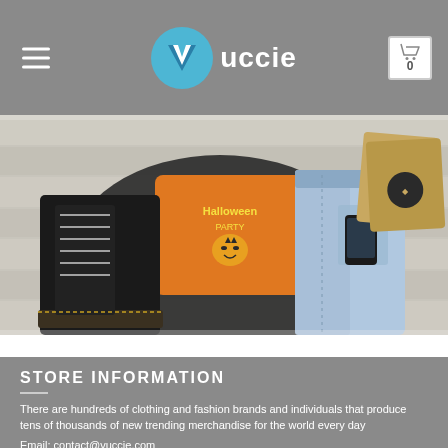Vuccie — hamburger menu, logo, cart icon
[Figure (photo): Fashion flatlay photo showing black leather boots, orange Halloween party sweatshirt, light denim jeans, and kraft card-box items on a wooden background]
STORE INFORMATION
There are hundreds of clothing and fashion brands and individuals that produce tens of thousands of new trending merchandise for the world every day
Email: contact@vuccie.com